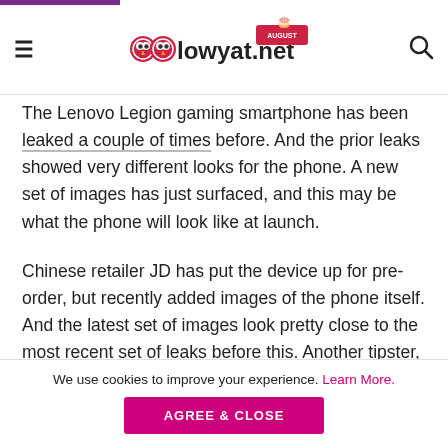lowyat.net
The Lenovo Legion gaming smartphone has been leaked a couple of times before. And the prior leaks showed very different looks for the phone. A new set of images has just surfaced, and this may be what the phone will look like at launch.
Chinese retailer JD has put the device up for pre-order, but recently added images of the phone itself. And the latest set of images look pretty close to the most recent set of leaks before this. Another tipster, Digital Chat Station, has
We use cookies to improve your experience. Learn More.
AGREE & CLOSE